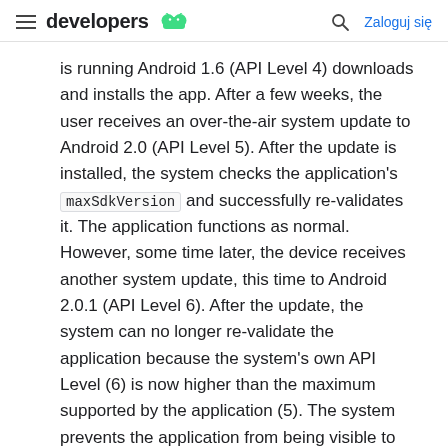developers | Zaloguj się
is running Android 1.6 (API Level 4) downloads and installs the app. After a few weeks, the user receives an over-the-air system update to Android 2.0 (API Level 5). After the update is installed, the system checks the application's maxSdkVersion and successfully re-validates it. The application functions as normal. However, some time later, the device receives another system update, this time to Android 2.0.1 (API Level 6). After the update, the system can no longer re-validate the application because the system's own API Level (6) is now higher than the maximum supported by the application (5). The system prevents the application from being visible to the user, in effect removing it from the device.